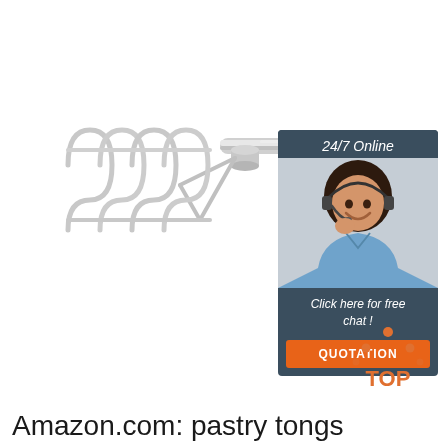[Figure (photo): A stainless steel pastry/potato masher tool with a zigzag wire coil head and long metal handle, shown on a white background.]
[Figure (infographic): Chat widget with dark slate background showing '24/7 Online' at top, a woman with headset smiling, text 'Click here for free chat !' and an orange button labeled 'QUOTATION'.]
[Figure (logo): Orange and dark dots forming a house/triangle shape above the word 'TOP' in orange text — a 'Back to Top' button logo.]
Amazon.com: pastry tongs